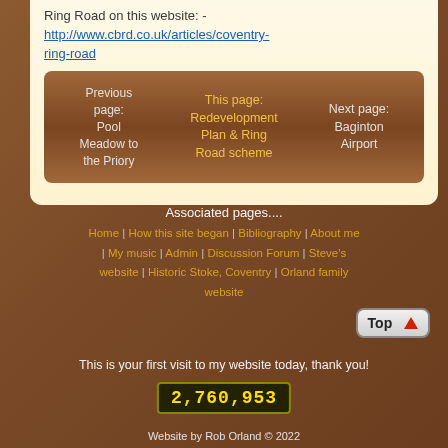Ring Road on this website: - http://www.cbrd.co.uk/articles/coventry-ring-road
Previous page: Pool Meadow to the Priory | This page: Redevelopment Plan & Ring Road scheme | Next page: Baginton Airport
Associated pages....
Home | How this site began | Bibliography | About me | My music | Admin | Discussion Forum | Steve's website | Historic Stoke, Coventry | Orland family website
[Figure (other): Top button with upward red arrow]
This is your first visit to my website today, thank you!
2,760,953
Website by Rob Orland © 2022